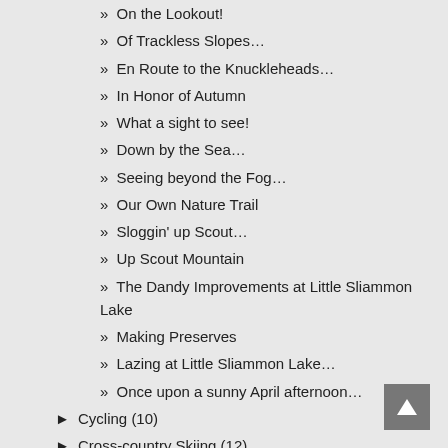» On the Lookout!
» Of Trackless Slopes…
» En Route to the Knuckleheads…
» In Honor of Autumn
» What a sight to see!
» Down by the Sea…
» Seeing beyond the Fog…
» Our Own Nature Trail
» Sloggin' up Scout…
» Up Scout Mountain
» The Dandy Improvements at Little Sliammon Lake
» Making Preserves
» Lazing at Little Sliammon Lake…
» Once upon a sunny April afternoon…
► Cycling (10)
► Cross-country Skiing (12)
» Johnston Canyon in January
» Life is the little walk before.
► TRAVELS (97)